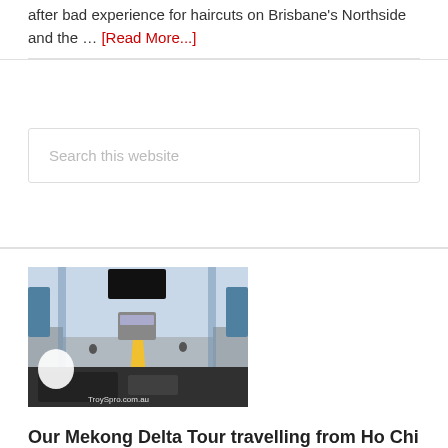after bad experience for haircuts on Brisbane's Northside and the … [Read More...]
Search this website
[Figure (photo): View from inside a bus looking forward through the windshield onto a highway bridge, with a truck ahead and motorcycles on the road. Watermark reads TroySpro.com.au]
Our Mekong Delta Tour travelling from Ho Chi Minh City in Vie...